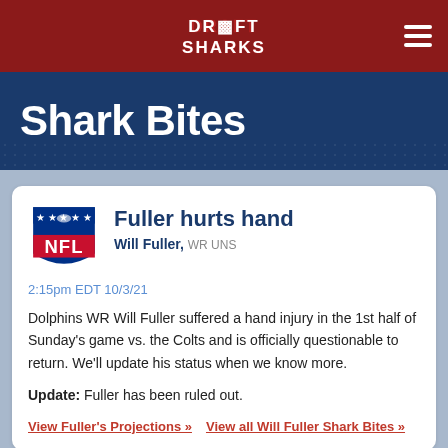Draft Sharks
Shark Bites
Fuller hurts hand
Will Fuller, WR UNS
2:15pm EDT 10/3/21
Dolphins WR Will Fuller suffered a hand injury in the 1st half of Sunday's game vs. the Colts and is officially questionable to return. We'll update his status when we know more.
Update: Fuller has been ruled out.
View Fuller's Projections »  View all Will Fuller Shark Bites »